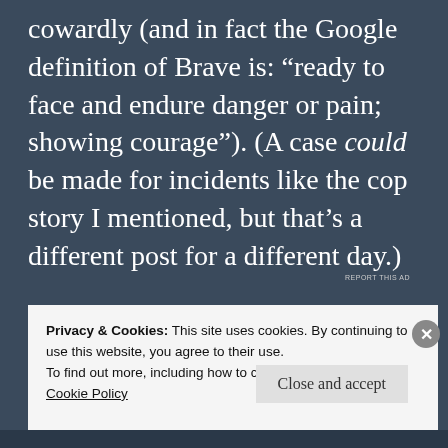cowardly (and in fact the Google definition of Brave is: “ready to face and endure danger or pain; showing courage”). (A case could be made for incidents like the cop story I mentioned, but that’s a different post for a different day.)
[Figure (other): Advertisement banner showing the word BROWSING with a price tag indicating $4 a month and a report this ad link]
Privacy & Cookies: This site uses cookies. By continuing to use this website, you agree to their use.
To find out more, including how to control cookies, see here: Cookie Policy
Close and accept